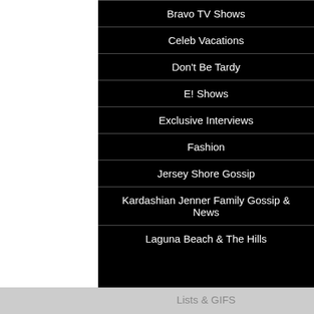Bravo TV Shows
Celeb Vacations
Don't Be Tardy
E! Shows
Exclusive Interviews
Fashion
Jersey Shore Gossip
Kardashian Jenner Family Gossip & News
Laguna Beach & The Hills
Lists & GIFS